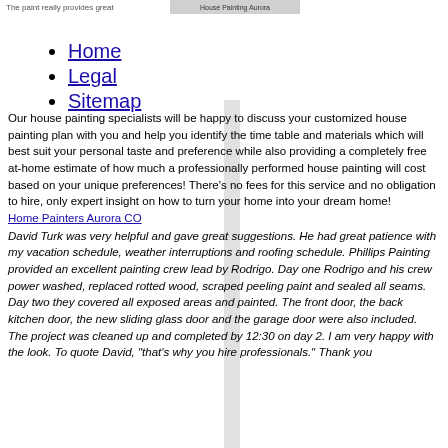The paint really provides great
House Painting Aurora
Home
Legal
Sitemap
Our house painting specialists will be happy to discuss your customized house painting plan with you and help you identify the time table and materials which will best suit your personal taste and preference while also providing a completely free at-home estimate of how much a professionally performed house painting will cost based on your unique preferences! There's no fees for this service and no obligation to hire, only expert insight on how to turn your home into your dream home!
Home Painters Aurora CO
David Turk was very helpful and gave great suggestions. He had great patience with my vacation schedule, weather interruptions and roofing schedule. Phillips Painting provided an excellent painting crew lead by Rodrigo. Day one Rodrigo and his crew power washed, replaced rotted wood, scraped peeling paint and sealed all seams. Day two they covered all exposed areas and painted. The front door, the back kitchen door, the new sliding glass door and the garage door were also included. The project was cleaned up and completed by 12:30 on day 2. I am very happy with the look. To quote David, "that's why you hire professionals." Thank you